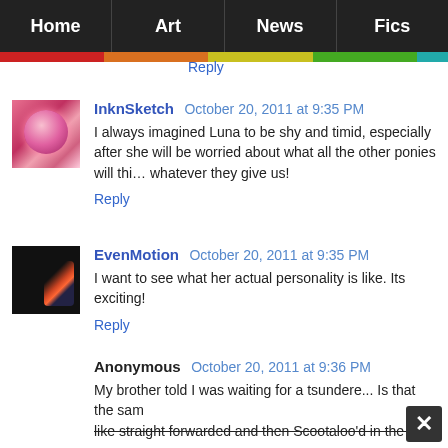Home | Art | News | Fics
Reply
InknSketch  October 20, 2011 at 9:35 PM
I always imagined Luna to be shy and timid, especially after she will be worried about what all the other ponies will think whatever they give us!
Reply
EvenMotion  October 20, 2011 at 9:35 PM
I want to see what her actual personality is like. Its exciting!
Reply
Anonymous  October 20, 2011 at 9:36 PM
My brother told I was waiting for a tsundere... Is that the same like straight forwarded and then Scootaloo'd in the last mome
Reply